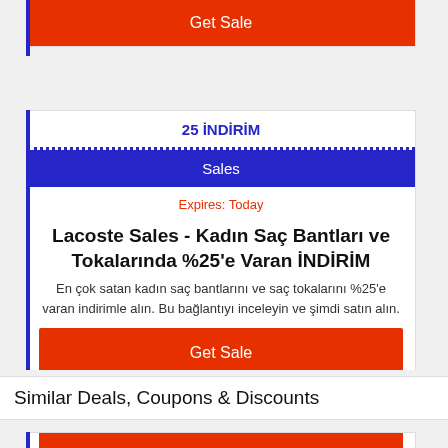Get Sale
25 İNDİRİM
Sales
Expires: Today
Lacoste Sales - Kadın Saç Bantları ve Tokalarında %25'e Varan İNDİRİM
En çok satan kadın saç bantlarını ve saç tokalarını %25'e varan indirimle alın. Bu bağlantıyı inceleyin ve şimdi satın alın.
Get Sale
Similar Deals, Coupons & Discounts